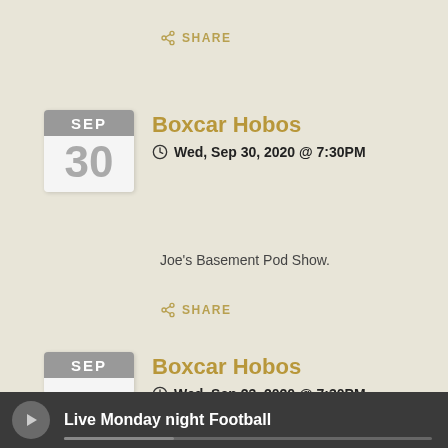SHARE
Boxcar Hobos
Wed, Sep 30, 2020 @ 7:30PM
Joe's Basement Pod Show.
SHARE
Boxcar Hobos
Wed, Sep 23, 2020 @ 7:30PM
Live Monday night Football